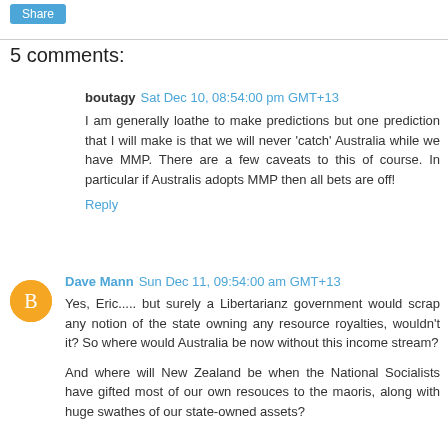[Figure (other): Share button (blue rounded rectangle)]
5 comments:
boutagy  Sat Dec 10, 08:54:00 pm GMT+13
I am generally loathe to make predictions but one prediction that I will make is that we will never 'catch' Australia while we have MMP. There are a few caveats to this of course. In particular if Australis adopts MMP then all bets are off!
Reply
[Figure (other): Orange circular avatar with letter B]
Dave Mann  Sun Dec 11, 09:54:00 am GMT+13
Yes, Eric..... but surely a Libertarianz government would scrap any notion of the state owning any resource royalties, wouldn't it? So where would Australia be now without this income stream?
And where will New Zealand be when the National Socialists have gifted most of our own resouces to the maoris, along with huge swathes of our state-owned assets?